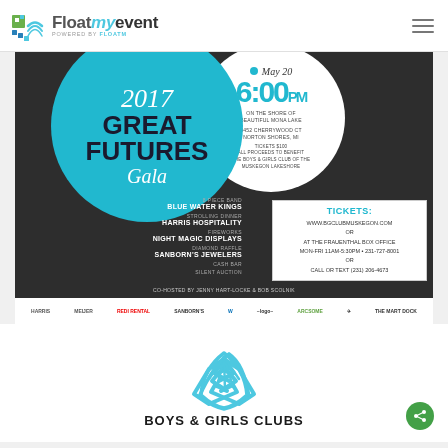FloatMyEvent powered by FLOATM
[Figure (infographic): 2017 Great Futures Gala event flyer. Teal and white circles on dark background. Event details: May 20, 6:00PM, on the shore of beautiful Mona Lake, 4452 Cherrywood Ct, Norton Shores MI. Tickets $100, all proceeds to benefit the Boys & Girls Club of the Muskegon Lakeshore. Features: 8 Piece Band Blue Water Kings, Strolling Dinner Harris Hospitality, Fireworks Night Magic Displays, Diamond Raffle Sanborn's Jewelers, Cash Bar, Silent Auction. Co-hosted by Jenny Hart-Locke & Bob Scolnik. Tickets: www.bgclubmuskegon.com or at the Frauenthal Box Office Mon-Fri 11am-5:30pm 231-727-8001 or call or text (231) 206-4673.]
[Figure (logo): Sponsor logos strip: Harris, Meijer, REDI Rental, Sanborn's, Westin, stylized logo, Arctome, airplane/travel logo, The Mart Dock]
[Figure (logo): Boys & Girls Clubs logo with blue handshake/hands icon and text BOYS & GIRLS CLUBS]